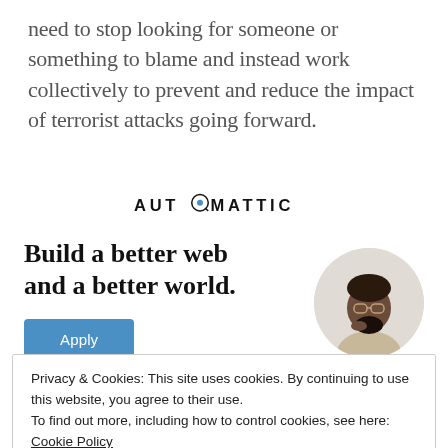need to stop looking for someone or something to blame and instead work collectively to prevent and reduce the impact of terrorist attacks going forward.
[Figure (logo): Automattic logo in black text with a circular icon replacing one letter]
Build a better web and a better world.
[Figure (photo): Circular cropped photo of a man with glasses and beard in a light shirt, thinking pose]
Privacy & Cookies: This site uses cookies. By continuing to use this website, you agree to their use.
To find out more, including how to control cookies, see here: Cookie Policy
Close and accept
on with regard to ISIS, is that it effectively